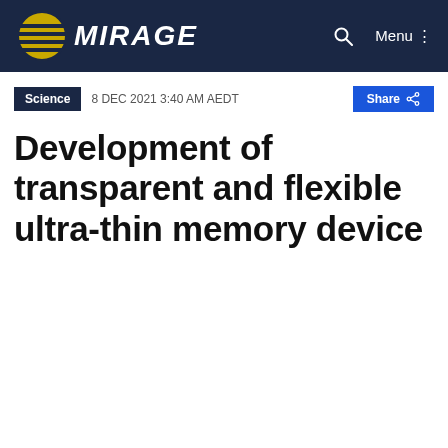MIRAGE
Science   8 DEC 2021 3:40 AM AEDT   Share
Development of transparent and flexible ultra-thin memory device